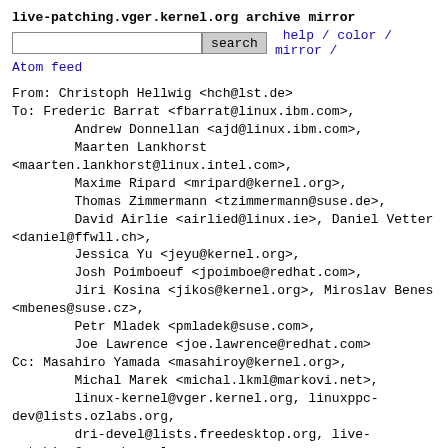live-patching.vger.kernel.org archive mirror
search  help / color / mirror /
Atom feed
From: Christoph Hellwig <hch@lst.de>
To: Frederic Barrat <fbarrat@linux.ibm.com>,
        Andrew Donnellan <ajd@linux.ibm.com>,
        Maarten Lankhorst
<maarten.lankhorst@linux.intel.com>,
        Maxime Ripard <mripard@kernel.org>,
        Thomas Zimmermann <tzimmermann@suse.de>,
        David Airlie <airlied@linux.ie>, Daniel Vetter
<daniel@ffwll.ch>,
        Jessica Yu <jeyu@kernel.org>,
        Josh Poimboeuf <jpoimboe@redhat.com>,
        Jiri Kosina <jikos@kernel.org>, Miroslav Benes
<mbenes@suse.cz>,
        Petr Mladek <pmladek@suse.com>,
        Joe Lawrence <joe.lawrence@redhat.com>
Cc: Masahiro Yamada <masahiroy@kernel.org>,
        Michal Marek <michal.lkml@markovi.net>,
        linux-kernel@vger.kernel.org, linuxppc-
dev@lists.ozlabs.org,
        dri-devel@lists.freedesktop.org, live-
patching@vger.kernel.org,
        linux-kbuild@vger.kernel.org
Subject: [PATCH 05/13] kallsyms: refactor
{,module_}kallsyms_on_each_symbol
Date: Tue,  2 Feb 2021 13:13:26 +0100   [thread